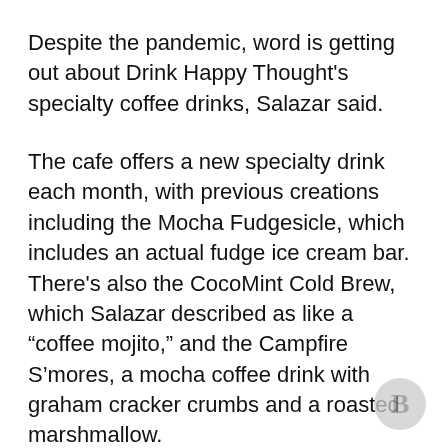Despite the pandemic, word is getting out about Drink Happy Thought's specialty coffee drinks, Salazar said.
The cafe offers a new specialty drink each month, with previous creations including the Mocha Fudgesicle, which includes an actual fudge ice cream bar. There's also the CocoMint Cold Brew, which Salazar described as like a “coffee mojito,” and the Campfire S’mores, a mocha coffee drink with graham cracker crumbs and a roasted marshmallow.
Drink Happy Thoughts also offers an array of toast recipes, smoothies and acai bowls. On Sundays, the cafe offers doughnuts from a